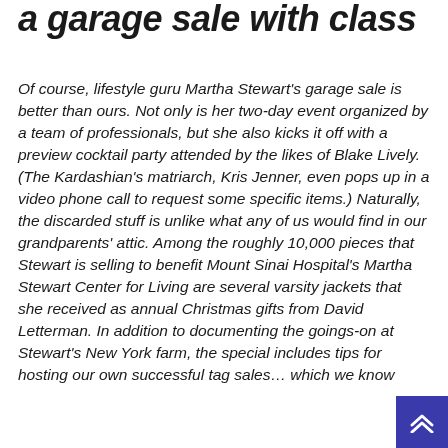a garage sale with class
Of course, lifestyle guru Martha Stewart's garage sale is better than ours. Not only is her two-day event organized by a team of professionals, but she also kicks it off with a preview cocktail party attended by the likes of Blake Lively. (The Kardashian's matriarch, Kris Jenner, even pops up in a video phone call to request some specific items.) Naturally, the discarded stuff is unlike what any of us would find in our grandparents' attic. Among the roughly 10,000 pieces that Stewart is selling to benefit Mount Sinai Hospital's Martha Stewart Center for Living are several varsity jackets that she received as annual Christmas gifts from David Letterman. In addition to documenting the goings-on at Stewart's New York farm, the special includes tips for hosting our own successful tag sales… which we know